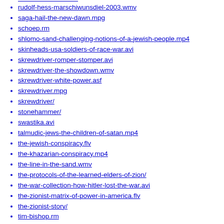rudolf-hess-marschiwunsdiel-2003.wmv
saga-hail-the-new-dawn.mpg
schoep.rm
shlomo-sand-challenging-notions-of-a-jewish-people.mp4
skinheads-usa-soldiers-of-race-war.avi
skrewdriver-romper-stomper.avi
skrewdriver-the-showdown.wmv
skrewdriver-white-power.asf
skrewdriver.mpg
skrewdriver/
stonehammer/
swastika.avi
talmudic-jews-the-children-of-satan.mp4
the-jewish-conspiracy.flv
the-khazarian-conspiracy.mp4
the-line-in-the-sand.wmv
the-protocols-of-the-learned-elders-of-zion/
the-war-collection-how-hitler-lost-the-war.avi
the-zionist-matrix-of-power-in-america.flv
the-zionist-story/
tim-bishop.rm
tiu-radio-latest-news-and-videos-5.flv
tiu-radio-the-synagogue-of-satan-beginners-guide-to-the-jewish-question-on-vimeo.mp4
trailer-wmp-8.wmv